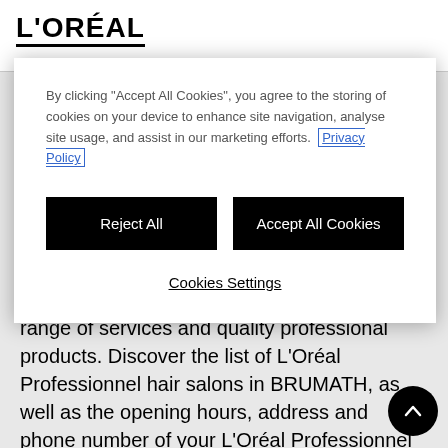L'ORÉAL
By clicking "Accept All Cookies", you agree to the storing of cookies on your device to enhance site navigation, analyse site usage, and assist in our marketing efforts. Privacy Policy
Reject All
Accept All Cookies
Cookies Settings
L'Oréal Professionnel hair salons offer a wide range of services and quality professional products. Discover the list of L'Oréal Professionnel hair salons in BRUMATH, as well as the opening hours, address and phone number of your L'Oréal Professionnel hair salon.